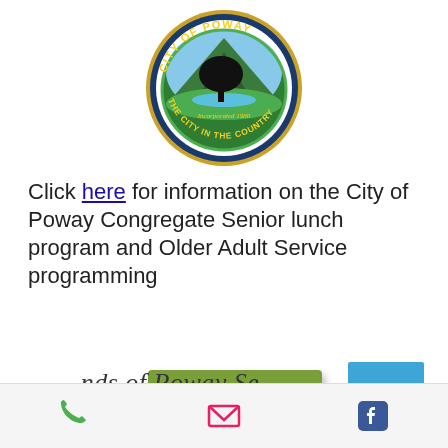[Figure (logo): City of Poway seal/logo — circular badge with blue border, gold text 'CITY OF POWAY' and 'THE CITY IN THE COUNTRY', green oval inner ring, silhouette of oak tree and mountain, blue lake, text 'Incorporated 1980']
Click here for information on the City of Poway Congregate Senior lunch program and Older Adult Service programming
[Figure (other): Green rectangular donate button with white text 'Donate']
[Figure (other): Blue square menu/hamburger button with three white horizontal bars]
...nds of Poway Se...
Phone icon | Email icon | Facebook icon